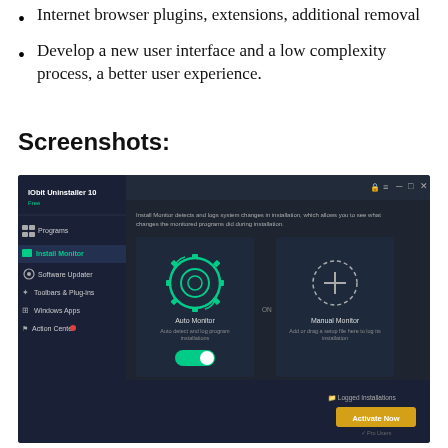Internet browser plugins, extensions, additional removal
Develop a new user interface and a low complexity process, a better user experience.
Screenshots:
[Figure (screenshot): IObit Uninstaller 10 application screenshot showing the Install Monitor feature with Auto Monitor and Manual Monitor options. The UI has a dark theme with a sidebar menu including Programs, Install Monitor, Software Updater, Toolbars & Plug-ins, Windows Apps, and Action Center. The main panel shows Auto Monitor (with a green toggle switched on) and Manual Monitor cards. An 'Activate Now' button is visible at the bottom right.]